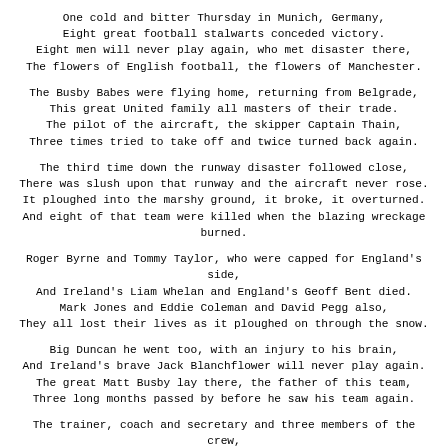One cold and bitter Thursday in Munich, Germany,
Eight great football stalwarts conceded victory.
Eight men will never play again, who met disaster there,
The flowers of English football, the flowers of Manchester.
The Busby Babes were flying home, returning from Belgrade,
This great United family all masters of their trade.
The pilot of the aircraft, the skipper Captain Thain,
Three times tried to take off and twice turned back again.
The third time down the runway disaster followed close,
There was slush upon that runway and the aircraft never rose.
It ploughed into the marshy ground, it broke, it overturned.
And eight of that team were killed when the blazing wreckage burned.
Roger Byrne and Tommy Taylor, who were capped for England's side,
And Ireland's Liam Whelan and England's Geoff Bent died.
Mark Jones and Eddie Coleman and David Pegg also,
They all lost their lives as it ploughed on through the snow.
Big Duncan he went too, with an injury to his brain,
And Ireland's brave Jack Blanchflower will never play again.
The great Matt Busby lay there, the father of this team,
Three long months passed by before he saw his team again.
The trainer, coach and secretary and three members of the crew,
Also eight sporting journalists who with United flew,
And one of them was Big Swifty who we will ne'er forget,
The finest English 'keeper that ever graced a net.